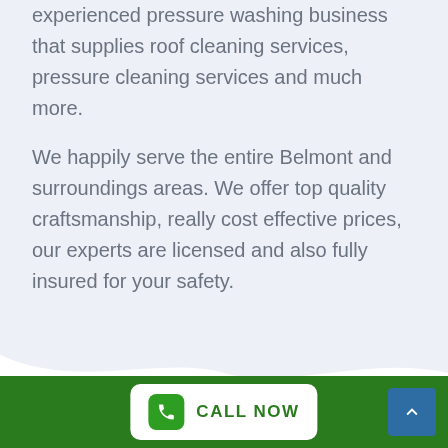experienced pressure washing business that supplies roof cleaning services, pressure cleaning services and much more.
We happily serve the entire Belmont and surroundings areas. We offer top quality craftsmanship, really cost effective prices, our experts are licensed and also fully insured for your safety.
OUR SERVICES
At All Pressure Cleaning, we are completely dedicated to
CALL NOW